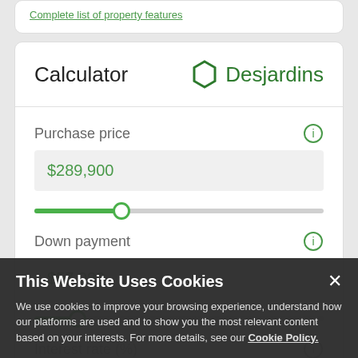Complete list of property features
Calculator
[Figure (logo): Desjardins hexagon logo with company name]
Purchase price
$289,900
Down payment
$57,980
Interest rate (%)
This Website Uses Cookies
We use cookies to improve your browsing experience, understand how our platforms are used and to show you the most relevant content based on your interests. For more details, see our Cookie Policy.